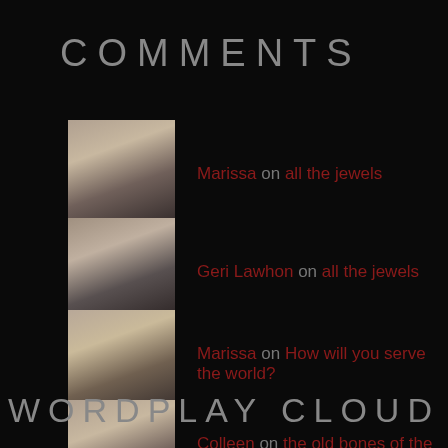COMMENTS
Marissa on all the jewels
Geri Lawhon on all the jewels
Marissa on How will you serve the world?
Colleen on the old bones of the past
Colleen on Open Call for Artists, Poets,...
WORDPLAY CLOUD